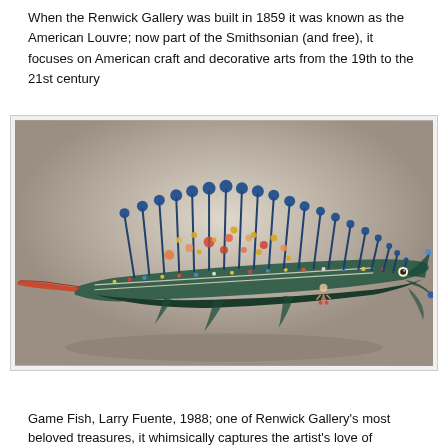When the Renwick Gallery was built in 1859 it was known as the American Louvre; now part of the Smithsonian (and free), it focuses on American craft and decorative arts from the 19th to the 21st century
[Figure (photo): Photo of 'Game Fish' sculpture by Larry Fuente, 1988, a colorful decorative fish sculpture covered in beads, trinkets, and found objects with blue spines, displayed at the Renwick Gallery]
Game Fish, Larry Fuente, 1988; one of Renwick Gallery's most beloved treasures, it whimsically captures the artist's love of